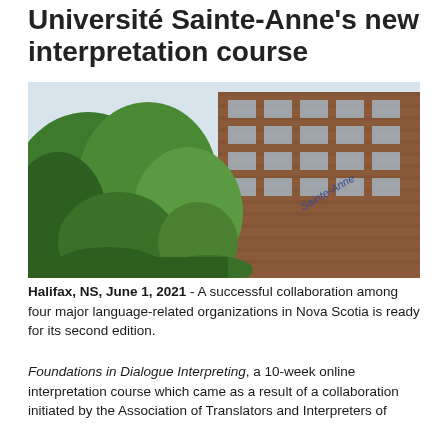Université Sainte-Anne's new interpretation course
[Figure (photo): Exterior view of a brick university building with 'Sainte-Anne' signage visible on the facade, surrounded by green maple trees under a partly cloudy sky.]
Halifax, NS, June 1, 2021 - A successful collaboration among four major language-related organizations in Nova Scotia is ready for its second edition.
Foundations in Dialogue Interpreting, a 10-week online interpretation course which came as a result of a collaboration initiated by the Association of Translators and Interpreters of